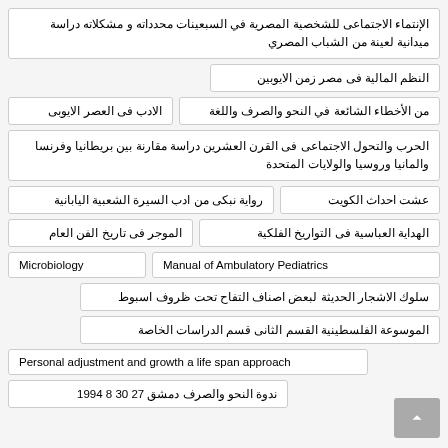الإنتماء الاجتماعى للشخصية المصرية في السبعينات محدداته و مشكلاته دراسة ميدانية لعينة من الشباب المصري
النظم المالية فى مصر زمن الايوبين
من الأخطاء الشائعة في النحو والصرف واللغة
الادب فى العصر الايوبى
الحرب والتحول الاجتماعى فى القرن العشرين دراسة مقارنة بين بريطانيا وفرنسا والمانيا وروسيا والولايات المتحدة
رواية نبكى من ادب السيرة الشعبية اليابانية
عشت احداث الكويت
الموجر فى تاريخ الفن العام
الهداية العباسية فى التواريخ الفلكية
Microbiology
Manual of Ambulatory Pediatrics
سلوك الاشجار الحديثة لبعض اصناف التفاح تحت ظروف اسبوط
الموسوعة الفلسطينية القسم الثانى قسم الدراسات الخاصة
Personal adjustment and growth a life span approach
ندوة النحو والصرف دمشق 27 30 8 1994